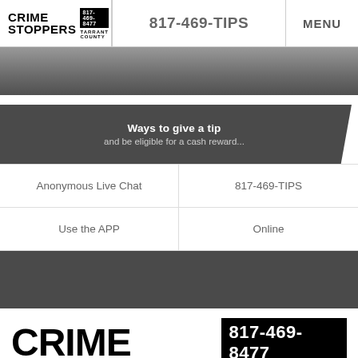CRIME STOPPERS 817-469-8477 TARRANT COUNTY | 817-469-TIPS | MENU
[Figure (photo): Dark background hero image strip showing ground/pavement]
Ways to give a tip and be eligible for a cash reward...
Anonymous Live Chat
817-469-TIPS
Use the APP
Online
[Figure (illustration): Dark gray footer bar]
[Figure (logo): Crime Stoppers Tarrant County logo with phone number 817-469-8477]